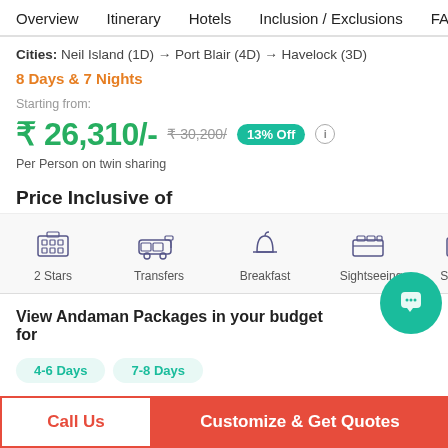Overview   Itinerary   Hotels   Inclusion / Exclusions   FAQ
Cities: Neil Island (1D) → Port Blair (4D) → Havelock (3D)
8 Days & 7 Nights
Starting from:
₹ 26,310/- ₹30,200/ 13% Off
Per Person on twin sharing
Price Inclusive of
[Figure (infographic): Icons for 2 Stars, Transfers, Breakfast, Sightseeing, Stay Inc]
View Andaman Packages in your budget for
4-6 Days
7-8 Days
Call Us
Customize & Get Quotes